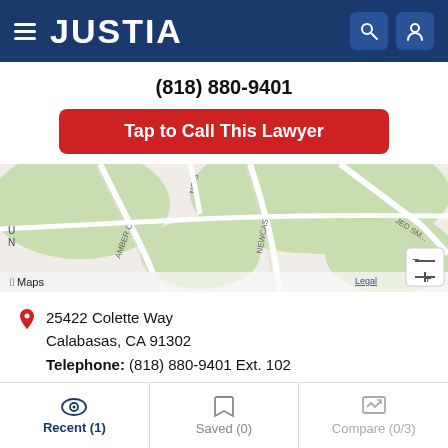JUSTIA
(818) 880-9401
Tap to Call This Lawyer
[Figure (map): Apple Maps showing street map around 25422 Colette Way, Calabasas, CA area with roads including Amber C and Newcas streets visible]
25422 Colette Way
Calabasas, CA 91302
Telephone: (818) 880-9401 Ext. 102
Email Daniel Schwartz
Download vCard
Recent (1)  Saved (0)  Compare (0/3)